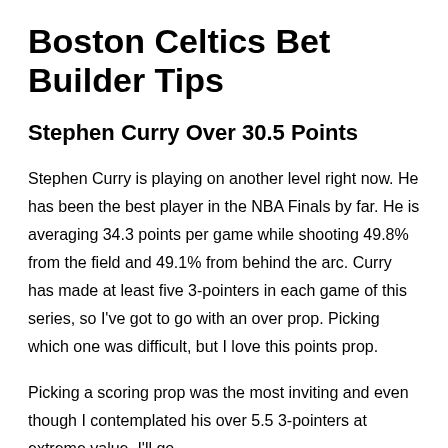Boston Celtics Bet Builder Tips
Stephen Curry Over 30.5 Points
Stephen Curry is playing on another level right now. He has been the best player in the NBA Finals by far. He is averaging 34.3 points per game while shooting 49.8% from the field and 49.1% from behind the arc. Curry has made at least five 3-pointers in each game of this series, so I've got to go with an over prop. Picking which one was difficult, but I love this points prop.
Picking a scoring prop was the most inviting and even though I contemplated his over 5.5 3-pointers at extreme value, I'll go